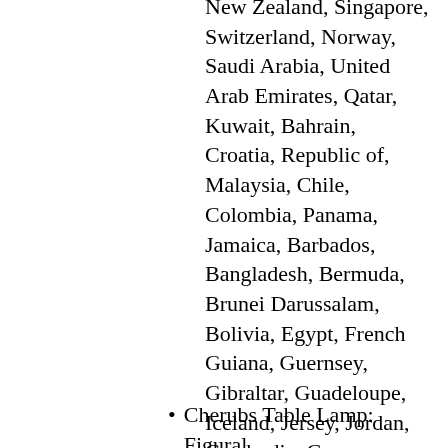New Zealand, Singapore, Switzerland, Norway, Saudi Arabia, United Arab Emirates, Qatar, Kuwait, Bahrain, Croatia, Republic of, Malaysia, Chile, Colombia, Panama, Jamaica, Barbados, Bangladesh, Bermuda, Brunei Darussalam, Bolivia, Egypt, French Guiana, Guernsey, Gibraltar, Guadeloupe, Iceland, Jersey, Jordan, Cambodia, Cayman Islands, Liechtenstein, Sri Lanka, Luxembourg, Monaco, Macau, Martinique, Maldives, Nicaragua, Oman, Pakistan, Paraguay, Reunion, Uruguay, Costa Rica, Trinidad and Tobago, Guatemala, Honduras.
Cherubs Table Lamp: Figural